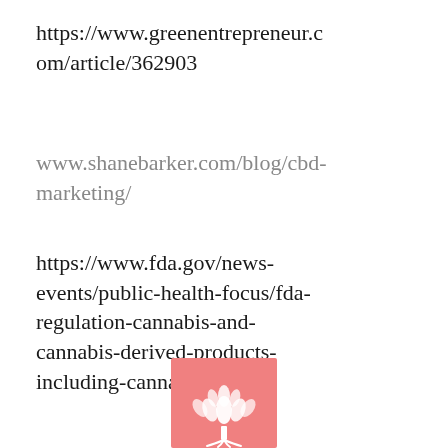https://www.greenentrepreneur.com/article/362903
www.shanebarker.com/blog/cbd-marketing/
https://www.fda.gov/news-events/public-health-focus/fda-regulation-cannabis-and-cannabis-derived-products-including-cannabidiol-cbd
[Figure (logo): Pink square logo with white tree/lotus illustration]